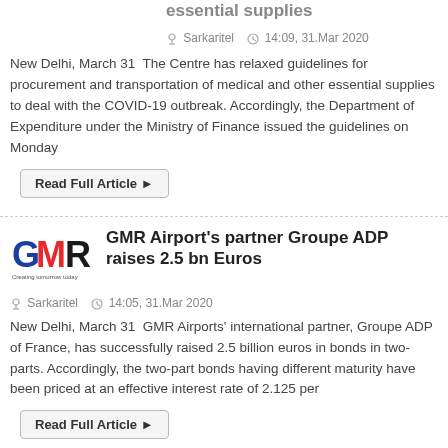essential supplies
Sarkaritel   14:09, 31.Mar 2020
New Delhi, March 31  The Centre has relaxed guidelines for procurement and transportation of medical and other essential supplies to deal with the COVID-19 outbreak. Accordingly, the Department of Expenditure under the Ministry of Finance issued the guidelines on Monday
Read Full Article ▶
GMR Airport's partner Groupe ADP raises 2.5 bn Euros
Sarkaritel   14:05, 31.Mar 2020
New Delhi, March 31  GMR Airports' international partner, Groupe ADP of France, has successfully raised 2.5 billion euros in bonds in two-parts. Accordingly, the two-part bonds having different maturity have been priced at an effective interest rate of 2.125 per
Read Full Article ▶
Govt defers unified stamp duty rates on securities till July 1
[Figure (logo): GMR logo - red, blue, and black stylized letters GMR with tagline 'Creating tomorrow today']
[Figure (logo): Ministry of Finance Government of India logo with emblem and text in Hindi and English]